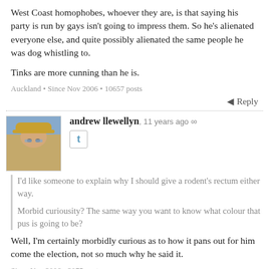West Coast homophobes, whoever they are, is that saying his party is run by gays isn't going to impress them. So he's alienated everyone else, and quite possibly alienated the same people he was dog whistling to.
Tinks are more cunning than he is.
Auckland • Since Nov 2006 • 10657 posts
Reply
andrew llewellyn, 11 years ago
I'd like someone to explain why I should give a rodent's rectum either way.
Morbid curiousity? The same way you want to know what colour that pus is going to be?
Well, I'm certainly morbidly curious as to how it pans out for him come the election, not so much why he said it.
Since Nov 2006 • 2075 posts